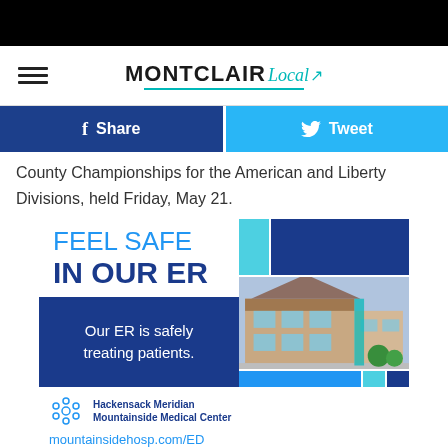[Figure (logo): Montclair Local newspaper logo with hamburger menu icon]
[Figure (infographic): Share and Tweet social media buttons]
County Championships for the American and Liberty Divisions, held Friday, May 21.
[Figure (illustration): Hackensack Meridian Mountainside Medical Center advertisement: FEEL SAFE IN OUR ER. Our ER is safely treating patients. mountainsidehosp.com/ED]